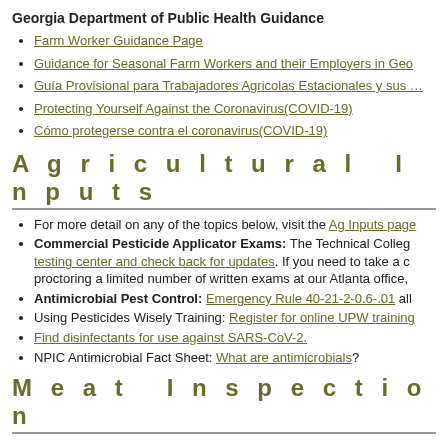Georgia Department of Public Health Guidance
Farm Worker Guidance Page
Guidance for Seasonal Farm Workers and their Employers in Geo…
Guía Provisional para Trabajadores Agricolas Estacionales y sus …
Protecting Yourself Against the Coronavirus(COVID-19)
Cómo protegerse contra el coronavirus(COVID-19)
Agricultural Inputs
For more detail on any of the topics below, visit the Ag Inputs page…
Commercial Pesticide Applicator Exams: The Technical Colleg… testing center and check back for updates. If you need to take a c… proctoring a limited number of written exams at our Atlanta office,
Antimicrobial Pest Control: Emergency Rule 40-21-2-0.6-.01 all…
Using Pesticides Wisely Training: Register for online UPW training…
Find disinfectants for use against SARS-CoV-2.
NPIC Antimicrobial Fact Sheet: What are antimicrobials?
Meat Inspection